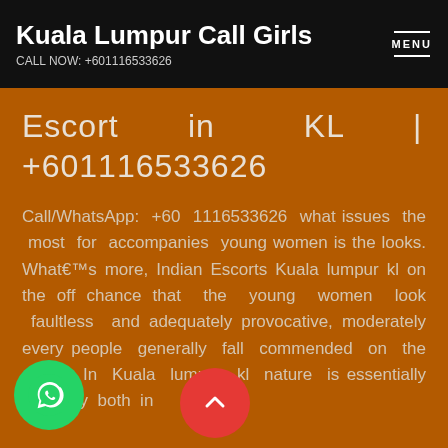Kuala Lumpur Call Girls
CALL NOW: +601116533626
Escort in KL | +601116533626
Call/WhatsApp: +60 1116533626 what issues the most for accompanies young women is the looks. What€™s more, Indian Escorts Kuala lumpur kl on the off chance that the young women look faultless and adequately provocative, moderately every people generally fall commended on the ouble. In Kuala lumpur kl nature is essentially extr ary both in